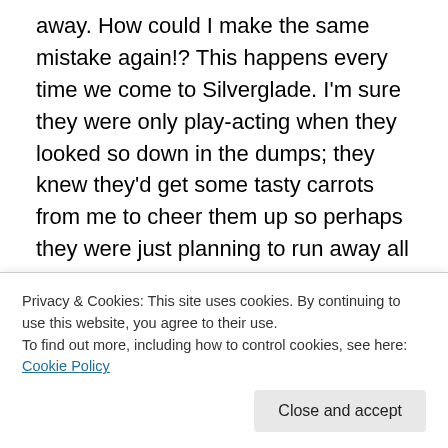away. How could I make the same mistake again!? This happens every time we come to Silverglade. I'm sure they were only play-acting when they looked so down in the dumps; they knew they'd get some tasty carrots from me to cheer them up so perhaps they were just planning to run away all along.
Look, they're dashing around here… You can see them, but they don't seem to be a hurry to come back.
Could you round them up for us, Rita? It's just a case of finding them – they'll come right back after some care.
Privacy & Cookies: This site uses cookies. By continuing to use this website, you agree to their use.
To find out more, including how to control cookies, see here: Cookie Policy
Good luck Rita, and be sure to have a good look, those